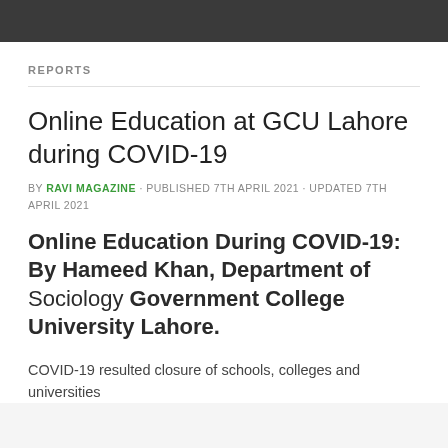REPORTS
Online Education at GCU Lahore during COVID-19
BY RAVI MAGAZINE · PUBLISHED 7TH APRIL 2021 · UPDATED 7TH APRIL 2021
Online Education During COVID-19: By Hameed Khan, Department of Sociology Government College University Lahore.
COVID-19 resulted closure of schools, colleges and universities